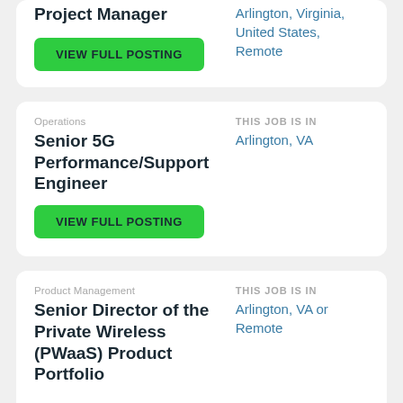Project Manager
VIEW FULL POSTING
Arlington, Virginia, United States, Remote
Operations
Senior 5G Performance/Support Engineer
THIS JOB IS IN
Arlington, VA
VIEW FULL POSTING
Product Management
Senior Director of the Private Wireless (PWaaS) Product Portfolio
THIS JOB IS IN
Arlington, VA or Remote